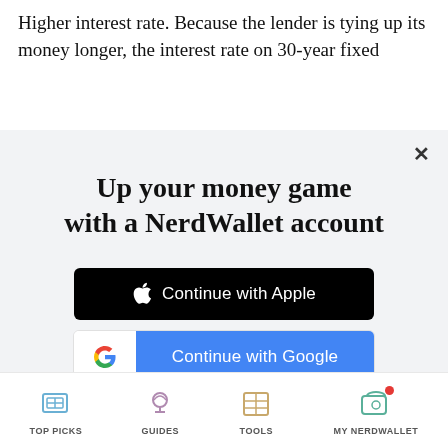Higher interest rate. Because the lender is tying up its money longer, the interest rate on 30-year fixed
Up your money game with a NerdWallet account
[Figure (screenshot): Continue with Apple button (black background, white Apple logo and text)]
[Figure (screenshot): Continue with Google button (white section with Google G logo, blue section with white text)]
or continue with email
By signing up, I agree to NerdWallet's Terms of Service and Privacy Policy.
TOP PICKS   GUIDES   TOOLS   MY NERDWALLET